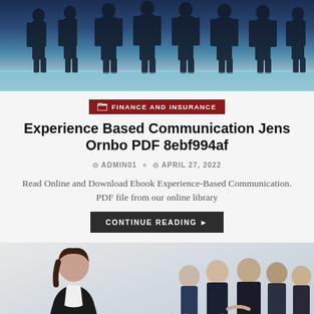[Figure (photo): Business people silhouettes in dark blue/teal toned image at the top of the page]
FINANCE AND INSURANCE
Experience Based Communication Jens Ornbo PDF 8ebf994af
ADMIN01 • APRIL 27, 2022
Read Online and Download Ebook Experience-Based Communication. PDF file from our online library
CONTINUE READING ▶
[Figure (photo): Business professional woman on left and group of business people on right, light background with stockfresh watermark]